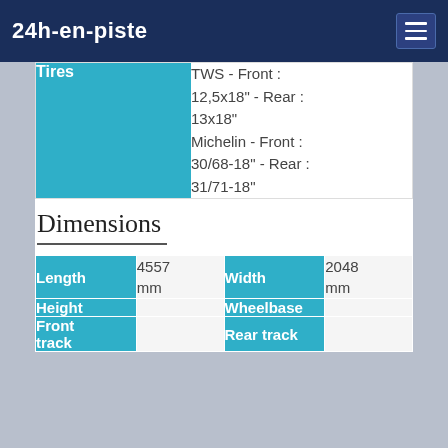24h-en-piste
| Tires |  |
| --- | --- |
| Tires | TWS - Front : 12,5x18" - Rear : 13x18"
Michelin - Front : 30/68-18" - Rear : 31/71-18" |
Dimensions
| Length | 4557 mm | Width | 2048 mm |
| --- | --- | --- | --- |
| Length | 4557 mm | Width | 2048 mm |
| Height |  | Wheelbase |  |
| Front track |  | Rear track |  |